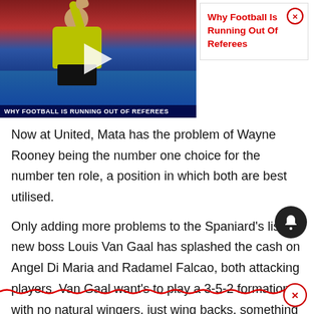[Figure (screenshot): Video thumbnail showing a football referee in a yellow shirt raising his hand, with crowd in background. Play button overlay visible. Bottom bar reads 'WHY FOOTBALL IS RUNNING OUT OF REFEREES']
Why Football Is Running Out Of Referees
Now at United, Mata has the problem of Wayne Rooney being the number one choice for the number ten role, a position in which both are best utilised.
Only adding more problems to the Spaniard's list, new boss Louis Van Gaal has splashed the cash on Angel Di Maria and Radamel Falcao, both attacking players. Van Gaal want's to play a 3-5-2 formation, with no natural wingers, just wing backs, something Di Maria is unaccustomed to and a role the Argentine will unlikely be asked to perform in. The idea is three central defenders, two wing bac…